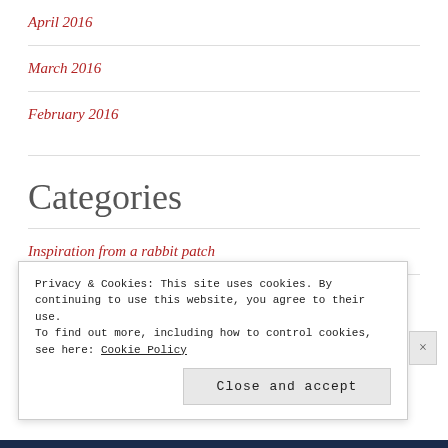April 2016
March 2016
February 2016
Categories
Inspiration from a rabbit patch
Poetry
Privacy & Cookies: This site uses cookies. By continuing to use this website, you agree to their use.
To find out more, including how to control cookies, see here: Cookie Policy
Close and accept